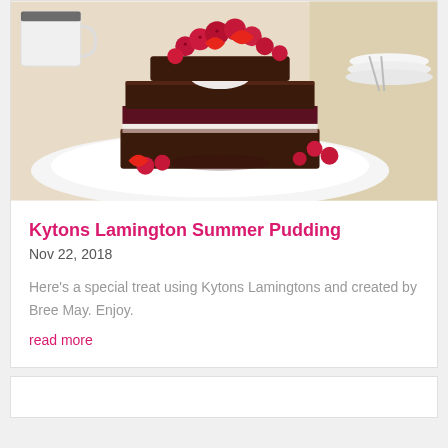[Figure (photo): A layered chocolate cake topped with whipped cream and fresh strawberries and raspberries, served on a white plate. A white cup and plates are visible in the background.]
Kytons Lamington Summer Pudding
Nov 22, 2018
Here’s a special treat using Kytons Lamingtons and created by Bree May. Enjoy.
read more